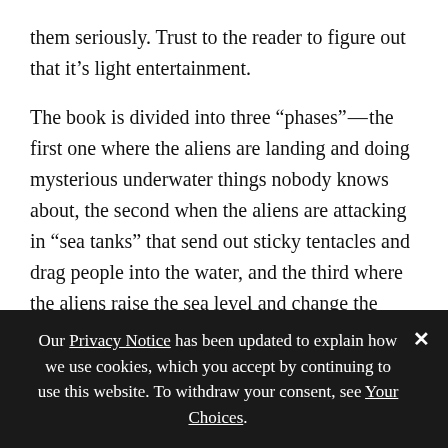them seriously. Trust to the reader to figure out that it’s light entertainment.
The book is divided into three “phases”—the first one where the aliens are landing and doing mysterious underwater things nobody knows about, the second when the aliens are attacking in “sea tanks” that send out sticky tentacles and drag people into the water, and the third where the aliens raise the sea level and change the climate and civilization collapses. The obligatory empty London scene is excellent, the characters look across the flooded Trafalgar Square from the steps of the National Gallery and wonder what Nelson would think of it now—classic. There’s a
Our Privacy Notice has been updated to explain how we use cookies, which you accept by continuing to use this website. To withdraw your consent, see Your Choices.